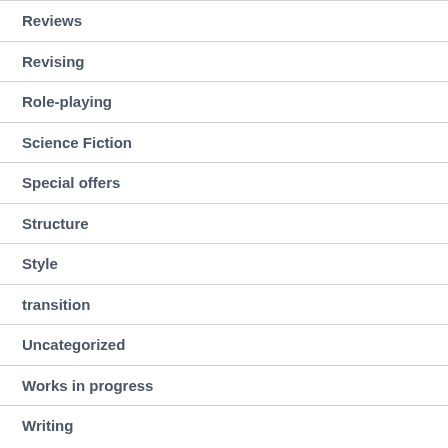Reviews
Revising
Role-playing
Science Fiction
Special offers
Structure
Style
transition
Uncategorized
Works in progress
Writing